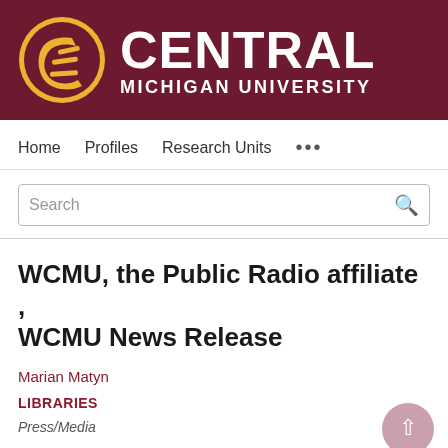[Figure (logo): Central Michigan University logo with maroon background, gold CMU letter mark in circle, and white CENTRAL MICHIGAN UNIVERSITY text]
Home   Profiles   Research Units   ...
Search
WCMU, the Public Radio affiliate , WCMU News Release
Marian Matyn
LIBRARIES
Press/Media